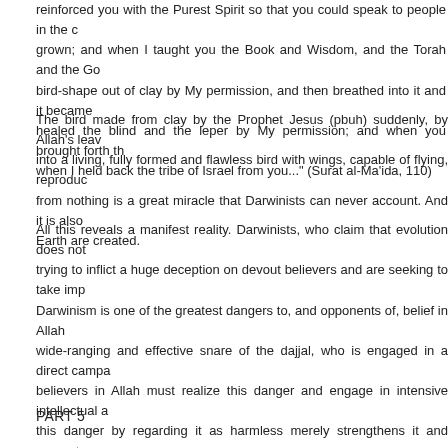reinforced you with the Purest Spirit so that you could speak to people in the cradle and when grown; and when I taught you the Book and Wisdom, and the Torah and the Gospel; and bird-shape out of clay by My permission, and then breathed into it and it became a bird; and you healed the blind and the leper by My permission; and when you brought forth the dead; and when I held back the tribe of Israel from you..." (Surat al-Ma'ida, 110)
The bird made from clay by the Prophet Jesus (pbuh) suddenly, by Allah's leave, turned into a living, fully formed and flawless bird with wings, capable of flying, reproducing... Life from nothing is a great miracle that Darwinists can never account. And it is also how all life on Earth are created.
All this reveals a manifest reality. Darwinists, who claim that evolution does not conflict with religion, are trying to inflict a huge deception on devout believers and are seeking to take important steps. Darwinism is one of the greatest dangers to, and opponents of, belief in Allah. It is the most wide-ranging and effective snare of the dajjal, who is engaged in a direct campaign against religion. All believers in Allah must realize this danger and engage in intensive intellectual activity. Ignoring this danger by regarding it as harmless merely strengthens it and supports a pernicious ongoing struggle against belief in Allah. It must not be forgotten that Darwinism is a false religion whose sole aim is to lead people to irreligion.
PART 5